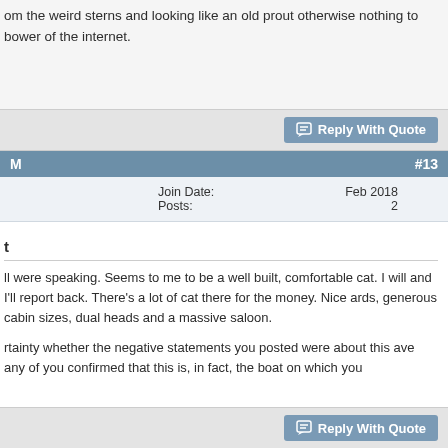om the weird sterns and looking like an old prout otherwise nothing to bower of the internet.
Reply With Quote
M  #13
Join Date: Feb 2018
Posts: 2
t
ll were speaking. Seems to me to be a well built, comfortable cat. I will and I'll report back. There's a lot of cat there for the money. Nice ards, generous cabin sizes, dual heads and a massive saloon.
rtainty whether the negative statements you posted were about this ave any of you confirmed that this is, in fact, the boat on which you
Reply With Quote